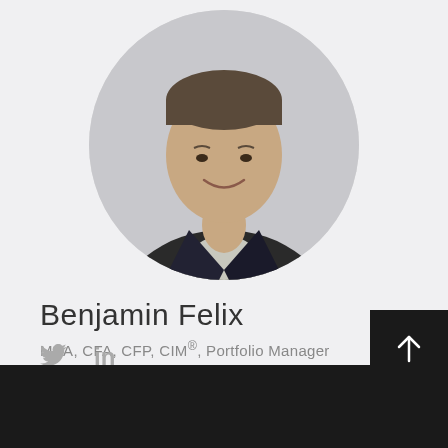[Figure (photo): Circular headshot photo of Benjamin Felix, a man in a grey suit jacket and light checkered shirt, smiling, against a light grey background]
Benjamin Felix
MBA, CFA, CFP, CIM®, Portfolio Manager
[Figure (logo): Twitter bird icon and LinkedIn 'in' icon in grey]
[Figure (other): Dark box with upward arrow icon]
PWL